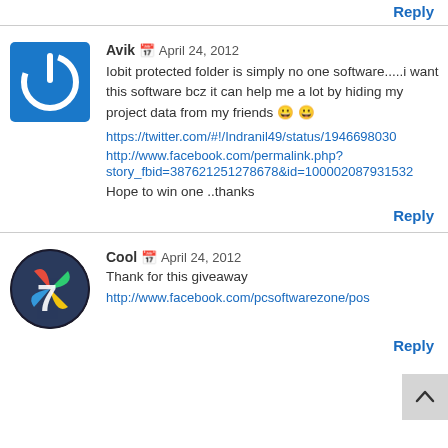Reply
Avik 📅 April 24, 2012
[Figure (logo): Blue square with white power button icon (IObit logo)]
Iobit protected folder is simply no one software.....i want this software bcz it can help me a lot by hiding my project data from my friends 😀 😀
https://twitter.com/#!/Indranil49/status/1946698030
http://www.facebook.com/permalink.php?story_fbid=387621251278678&id=100002087931532
Hope to win one ..thanks
Reply
Cool 📅 April 24, 2012
[Figure (logo): Windows 7 logo — circular badge with colorful flag and number 7]
Thank for this giveaway
http://www.facebook.com/pcsoftwarezone/pos
Reply